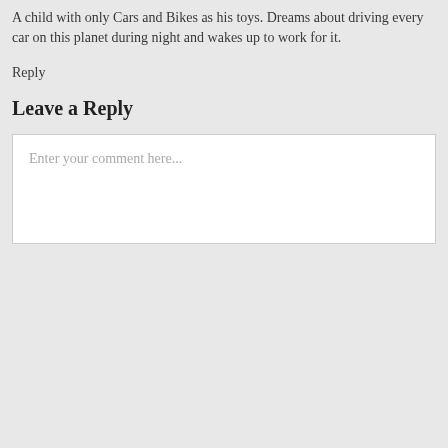A child with only Cars and Bikes as his toys. Dreams about driving every car on this planet during night and wakes up to work for it.
Reply
Leave a Reply
Enter your comment here...